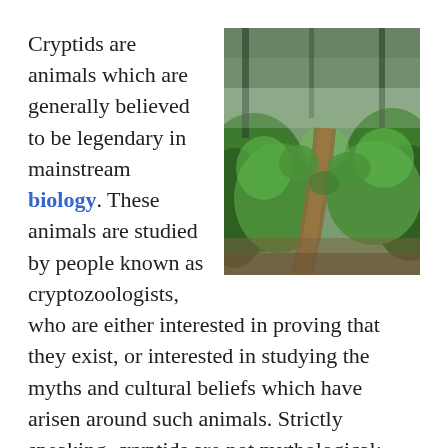Cryptids are animals which are generally believed to be legendary in mainstream biology. These animals are studied by people known as cryptozoologists, who are either interested in proving that they exist, or interested in studying the myths and cultural beliefs which have arisen around such animals. Strictly speaking, cryptids are not mythological; creatures like unicorns, for example, are not considered cryptids, because they are accepted
[Figure (photo): A misty forest path winding through dense green shrubs and tall conifer trees, with a narrow dirt trail visible in the middle ground.]